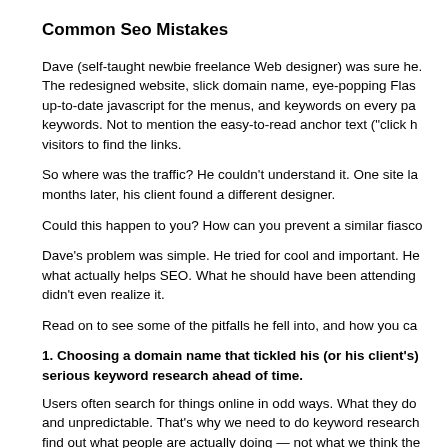Common Seo Mistakes
Dave (self-taught newbie freelance Web designer) was sure he. The redesigned website, slick domain name, eye-popping Flas up-to-date javascript for the menus, and keywords on every pa keywords. Not to mention the easy-to-read anchor text ("click h visitors to find the links.
So where was the traffic? He couldn't understand it. One site la months later, his client found a different designer.
Could this happen to you? How can you prevent a similar fiasc
Dave's problem was simple. He tried for cool and important. He what actually helps SEO. What he should have been attending didn't even realize it.
Read on to see some of the pitfalls he fell into, and how you ca
1. Choosing a domain name that tickled his (or his client's) serious keyword research ahead of time.
Users often search for things online in odd ways. What they do and unpredictable. That's why we need to do keyword researc find out what people are actually doing — not what we think the know that, we know how to name our domains, title sections, he
2. Putting a Flash/Animate intro on his home page.